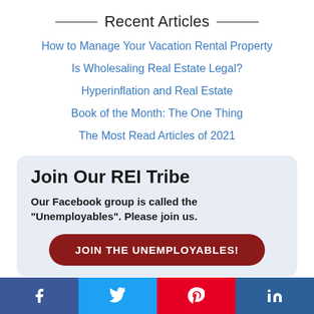Recent Articles
How to Manage Your Vacation Rental Property
Is Wholesaling Real Estate Legal?
Hyperinflation and Real Estate
Book of the Month: The One Thing
The Most Read Articles of 2021
Join Our REI Tribe
Our Facebook group is called the "Unemployables". Please join us.
JOIN THE UNEMPLOYABLES!